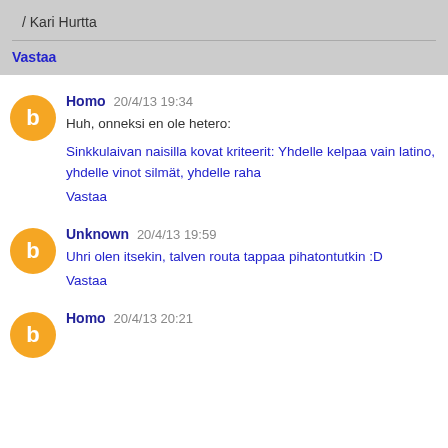/ Kari Hurtta
Vastaa
Homo 20/4/13 19:34
Huh, onneksi en ole hetero:
Sinkkulaivan naisilla kovat kriteerit: Yhdelle kelpaa vain latino, yhdelle vinot silmät, yhdelle raha
Vastaa
Unknown 20/4/13 19:59
Uhri olen itsekin, talven routa tappaa pihatontutkin :D
Vastaa
Homo 20/4/13 20:21